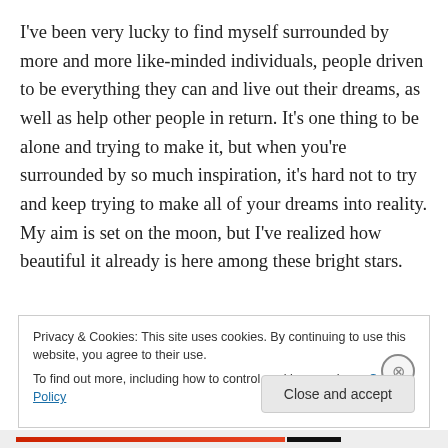I've been very lucky to find myself surrounded by more and more like-minded individuals, people driven to be everything they can and live out their dreams, as well as help other people in return. It's one thing to be alone and trying to make it, but when you're surrounded by so much inspiration, it's hard not to try and keep trying to make all of your dreams into reality. My aim is set on the moon, but I've realized how beautiful it already is here among these bright stars.
Privacy & Cookies: This site uses cookies. By continuing to use this website, you agree to their use. To find out more, including how to control cookies, see here: Cookie Policy